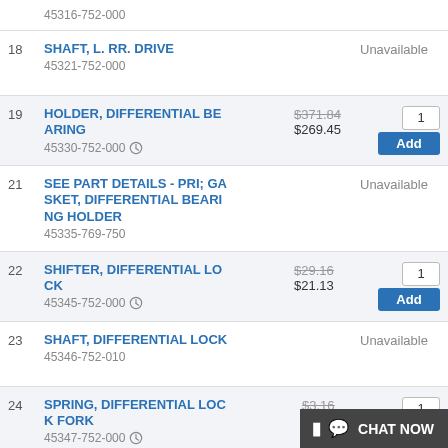| # | Part Name / SKU | Price | Action |
| --- | --- | --- | --- |
|  | 45316-752-000 |  |  |
| 18 | SHAFT, L. RR. DRIVE
45321-752-000 | Unavailable |  |
| 19 | HOLDER, DIFFERENTIAL BEARING
45330-752-000 | $371.84 / $269.45 | 1 / Add |
| 21 | SEE PART DETAILS - PRI; GASKET, DIFFERENTIAL BEARING HOLDER
45335-769-750 | Unavailable |  |
| 22 | SHIFTER, DIFFERENTIAL LOCK
45345-752-000 | $29.16 / $21.13 | 1 / Add |
| 23 | SHAFT, DIFFERENTIAL LOCK
45346-752-010 | Unavailable |  |
| 24 | SPRING, DIFFERENTIAL LOCK FORK
45347-752-000 | $3.16 / $2.29 | 1 / Add |